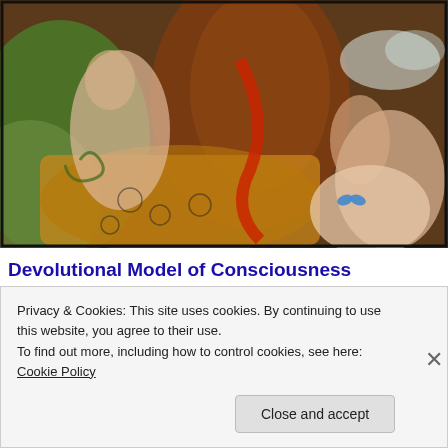[Figure (illustration): Colorful surrealist psychedelic artwork depicting mythological or fantastical figures including a female figure with wings, organic tree forms, serpentine shapes, and a fetal figure, rendered in rich earth tones, greens, and reds.]
Devolutional Model of Consciousness Development
Privacy & Cookies: This site uses cookies. By continuing to use this website, you agree to their use.
To find out more, including how to control cookies, see here: Cookie Policy
Close and accept